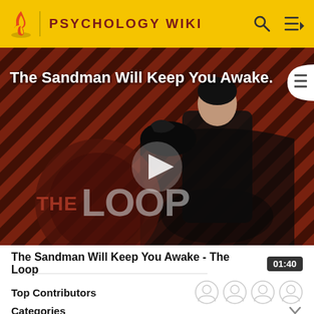PSYCHOLOGY WIKI
[Figure (screenshot): Video thumbnail showing a figure dressed in black with a crow/raven, against a red and black diagonal striped background. Overlay text reads 'The Sandman Will Keep You Awake.' and 'THE LOOP' logo is visible at the bottom left. A play button triangle is centered on the image.]
The Sandman Will Keep You Awake - The Loop
01:40
Top Contributors
Categories